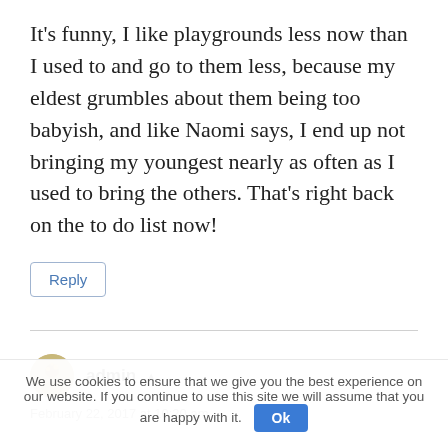It's funny, I like playgrounds less now than I used to and go to them less, because my eldest grumbles about them being too babyish, and like Naomi says, I end up not bringing my youngest nearly as often as I used to bring the others. That's right back on the to do list now!
Reply
admin ▲
February 22, 2017 at 10:20 am
We use cookies to ensure that we give you the best experience on our website. If you continue to use this site we will assume that you are happy with it. Ok